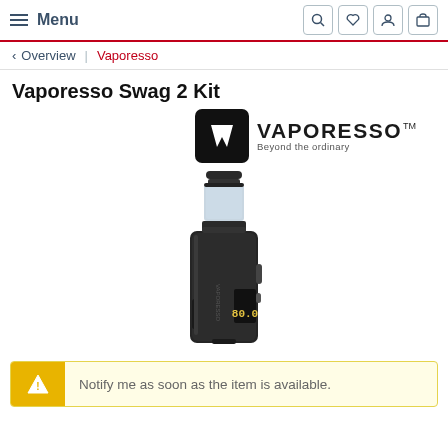Menu
< Overview | Vaporesso
Vaporesso Swag 2 Kit
[Figure (logo): Vaporesso brand logo: black square with white V-shaped vape icon, beside VAPORESSO TM text and tagline Beyond the ordinary]
[Figure (photo): Vaporesso Swag 2 Kit device - a black compact box mod with a small tank/clearomizer on top, showing a digital display]
Notify me as soon as the item is available.